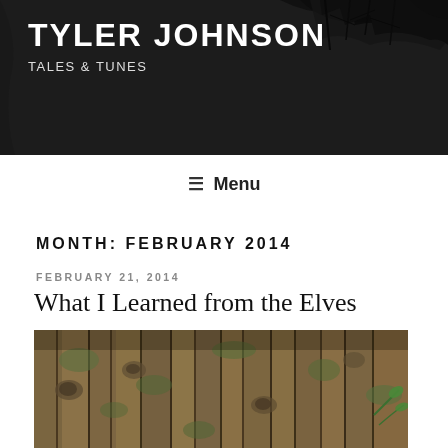TYLER JOHNSON
TALES & TUNES
Menu
MONTH: FEBRUARY 2014
FEBRUARY 21, 2014
What I Learned from the Elves
[Figure (photo): Close-up photo of moss-covered tree bark with gnarled texture, brownish-green tones, with a small green plant visible on the right side]